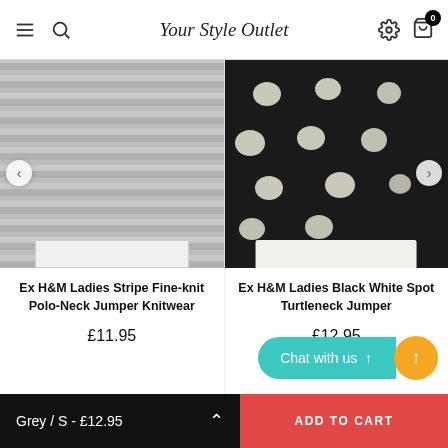Your Style Outlet
[Figure (photo): Ex H&M Ladies Stripe Fine-knit Polo-Neck Jumper Knitwear - grey striped knitwear product image]
Ex H&M Ladies Stripe Fine-knit Polo-Neck Jumper Knitwear
£11.95
[Figure (photo): Ex H&M Ladies Black White Spot Turtleneck Jumper - black with white polka dots product image]
Ex H&M Ladies Black White Spot Turtleneck Jumper
£12.95
Chat with us
Grey / S - £12.95    ADD TO CART